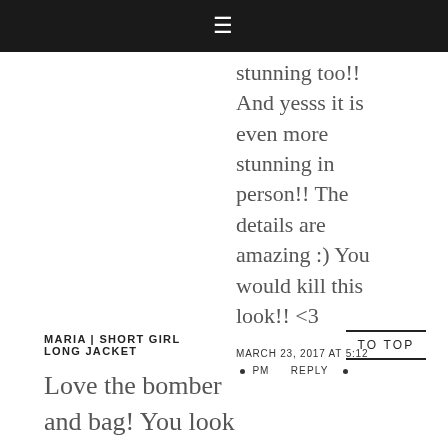≡
stunning too!! And yesss it is even more stunning in person!! The details are amazing :) You would kill this look!! <3
MARCH 23, 2017 AT 5:12 PM • REPLY •
MARIA | SHORT GIRL LONG JACKET
TO TOP
Love the bomber and bag! You look gorgeous x